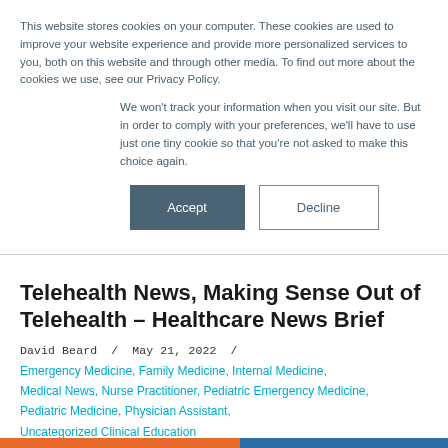This website stores cookies on your computer. These cookies are used to improve your website experience and provide more personalized services to you, both on this website and through other media. To find out more about the cookies we use, see our Privacy Policy.
We won't track your information when you visit our site. But in order to comply with your preferences, we'll have to use just one tiny cookie so that you're not asked to make this choice again.
Accept | Decline
Telehealth News, Making Sense Out of Telehealth – Healthcare News Brief
David Beard  /  May 21, 2022  /
Emergency Medicine, Family Medicine, Internal Medicine, Medical News, Nurse Practitioner, Pediatric Emergency Medicine, Pediatric Medicine, Physician Assistant, Uncategorized Clinical Education